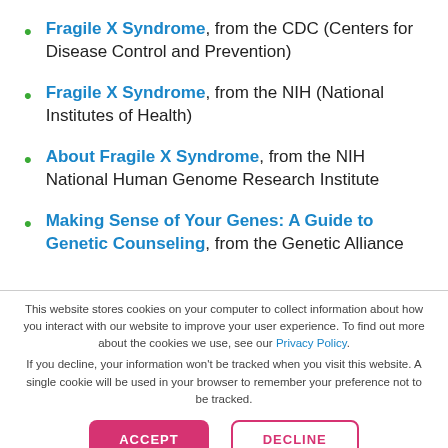Fragile X Syndrome, from the CDC (Centers for Disease Control and Prevention)
Fragile X Syndrome, from the NIH (National Institutes of Health)
About Fragile X Syndrome, from the NIH National Human Genome Research Institute
Making Sense of Your Genes: A Guide to Genetic Counseling, from the Genetic Alliance
This website stores cookies on your computer to collect information about how you interact with our website to improve your user experience. To find out more about the cookies we use, see our Privacy Policy.
If you decline, your information won't be tracked when you visit this website. A single cookie will be used in your browser to remember your preference not to be tracked.